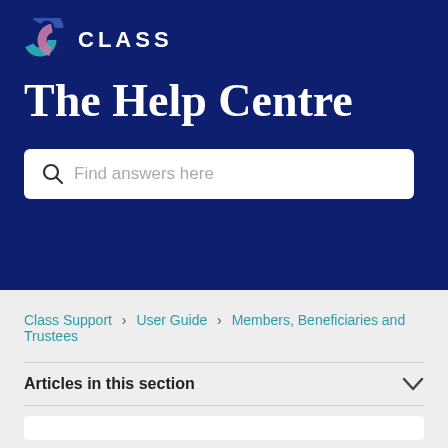[Figure (logo): Class logo with three interlocking circular shapes in teal, pink, and blue, followed by the text CLASS in white capital letters]
The Help Centre
[Figure (screenshot): Search box with placeholder text 'Find answers here' and a search icon]
Class Support > User Guide > Members, Beneficiaries and Trustees
Articles in this section